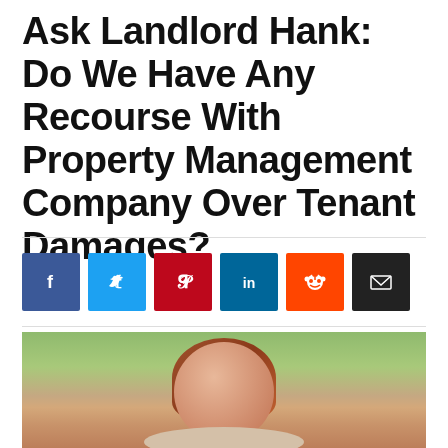Ask Landlord Hank: Do We Have Any Recourse With Property Management Company Over Tenant Damages?
[Figure (other): Social media sharing buttons: Facebook (blue), Twitter (light blue), Pinterest (red), LinkedIn (dark blue), Reddit (orange), Email (black)]
[Figure (photo): Portrait photo of a woman with brown hair outdoors, smiling, with a blurred green background]